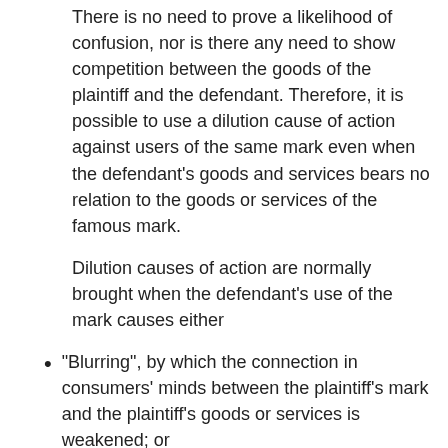There is no need to prove a likelihood of confusion, nor is there any need to show competition between the goods of the plaintiff and the defendant. Therefore, it is possible to use a dilution cause of action against users of the same mark even when the defendant's goods and services bears no relation to the goods or services of the famous mark.
Dilution causes of action are normally brought when the defendant's use of the mark causes either
"Blurring", by which the connection in consumers' minds between the plaintiff's mark and the plaintiff's goods or services is weakened; or
"Tarnishment", which means that the defendant's use is unsavory or unwholesome, or the mark is used in connection with inferior products.
However, the Act makes clear that certain actions will not be subject to the provisions of the Act. Specifically, the Act states that fair use (such as comparative advertising),